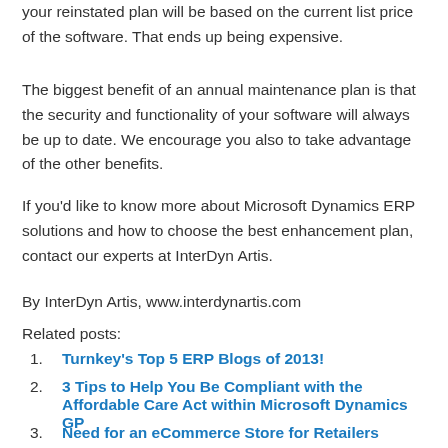your reinstated plan will be based on the current list price of the software. That ends up being expensive.
The biggest benefit of an annual maintenance plan is that the security and functionality of your software will always be up to date. We encourage you also to take advantage of the other benefits.
If you'd like to know more about Microsoft Dynamics ERP solutions and how to choose the best enhancement plan, contact our experts at InterDyn Artis.
By InterDyn Artis, www.interdynartis.com
Related posts:
Turnkey's Top 5 ERP Blogs of 2013!
3 Tips to Help You Be Compliant with the Affordable Care Act within Microsoft Dynamics GP
Need for an eCommerce Store for Retailers